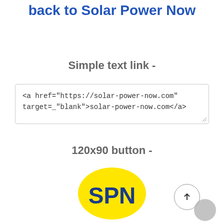back to Solar Power Now
Simple text link -
<a href="https://solar-power-now.com" target=_"blank">solar-power-now.com</a>
120x90 button -
[Figure (logo): Yellow oval SPN logo with bold blue text 'SPN']